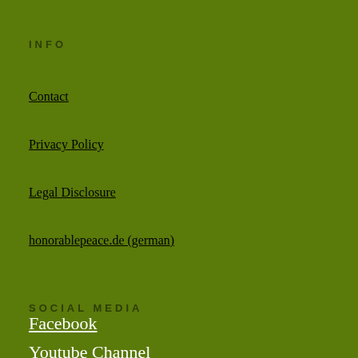INFO
Contact
Privacy Policy
Legal Disclosure
honorablepeace.de (german)
SOCIAL MEDIA
Facebook
Youtube Channel